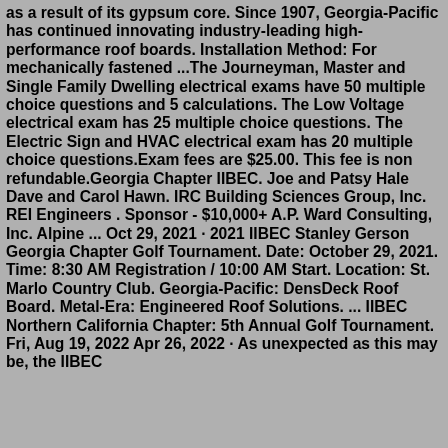as a result of its gypsum core. Since 1907, Georgia-Pacific has continued innovating industry-leading high-performance roof boards. Installation Method: For mechanically fastened ...The Journeyman, Master and Single Family Dwelling electrical exams have 50 multiple choice questions and 5 calculations. The Low Voltage electrical exam has 25 multiple choice questions. The Electric Sign and HVAC electrical exam has 20 multiple choice questions.Exam fees are $25.00. This fee is non refundable.Georgia Chapter IIBEC. Joe and Patsy Hale Dave and Carol Hawn. IRC Building Sciences Group, Inc. REI Engineers . Sponsor - $10,000+ A.P. Ward Consulting, Inc. Alpine ... Oct 29, 2021 · 2021 IIBEC Stanley Gerson Georgia Chapter Golf Tournament. Date: October 29, 2021. Time: 8:30 AM Registration / 10:00 AM Start. Location: St. Marlo Country Club. Georgia-Pacific: DensDeck Roof Board. Metal-Era: Engineered Roof Solutions. ... IIBEC Northern California Chapter: 5th Annual Golf Tournament. Fri, Aug 19, 2022 Apr 26, 2022 · As unexpected as this may be, the IIBEC